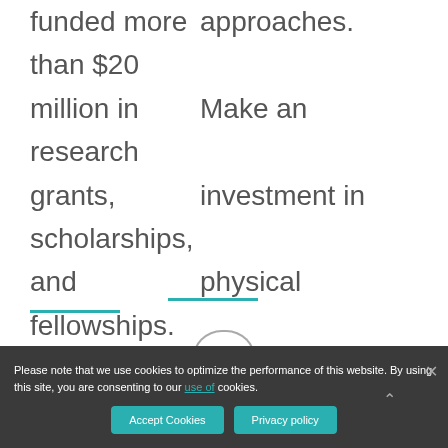funded more than $20 million in research grants, scholarships, and fellowships.
approaches. Make an investment in physical therapy and donate today.
Please note that we use cookies to optimize the performance of this website. By using this site, you are consenting to our use of cookies.